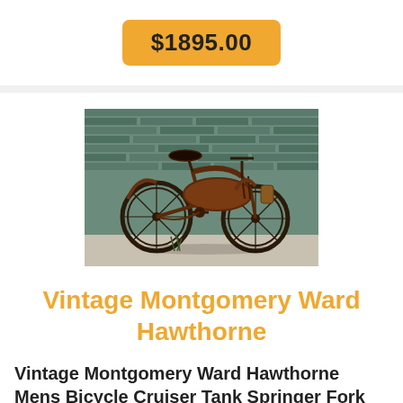$1895.00
[Figure (photo): Vintage Montgomery Ward Hawthorne bicycle leaning against a teal/green brick wall, viewed from the side. The bike is an old cruiser style with a tank, springer fork, and appears worn and rusty.]
Vintage Montgomery Ward Hawthorne
Vintage Montgomery Ward Hawthorne Mens Bicycle Cruiser Tank Springer Fork